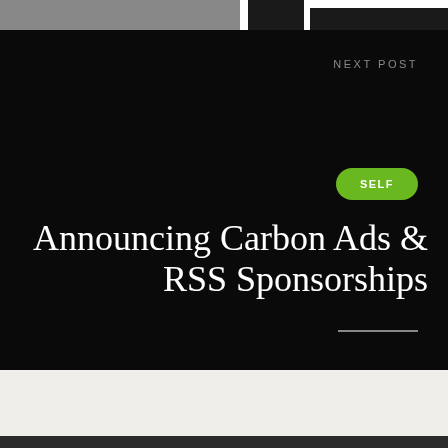[Figure (photo): Top strip with partial images visible against dark background]
NEXT POST
SELF
Announcing Carbon Ads & RSS Sponsorships